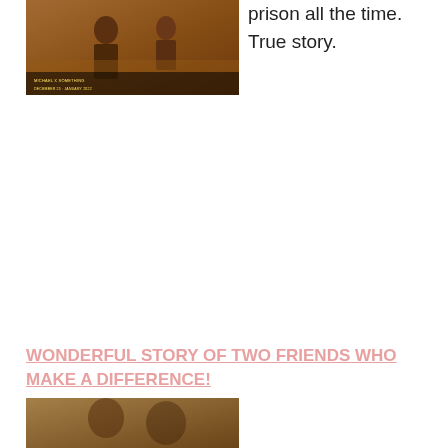[Figure (photo): Movie poster or film still with warm orange/brown tones, showing figures with small text overlay in yellow, appears to be a prison-related film]
prison all the time. True story.
WONDERFUL STORY OF TWO FRIENDS WHO MAKE A DIFFERENCE!
[Figure (photo): Bottom cropped movie still or related image, partially visible]